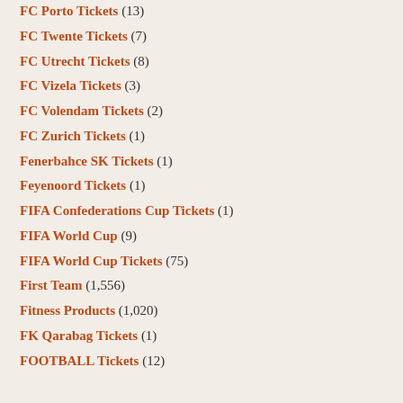FC Porto Tickets (13)
FC Twente Tickets (7)
FC Utrecht Tickets (8)
FC Vizela Tickets (3)
FC Volendam Tickets (2)
FC Zurich Tickets (1)
Fenerbahce SK Tickets (1)
Feyenoord Tickets (1)
FIFA Confederations Cup Tickets (1)
FIFA World Cup (9)
FIFA World Cup Tickets (75)
First Team (1,556)
Fitness Products (1,020)
FK Qarabag Tickets (1)
FOOTBALL Tickets (12)